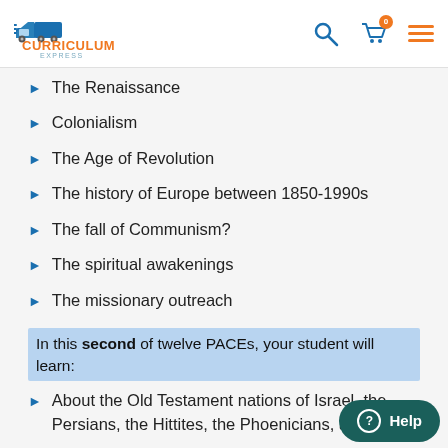Curriculum Express
The Renaissance
Colonialism
The Age of Revolution
The history of Europe between 1850-1990s
The fall of Communism?
The spiritual awakenings
The missionary outreach
In this second of twelve PACEs, your student will learn:
About the Old Testament nations of Israel, the Persians, the Hittites, the Phoenicians, and the